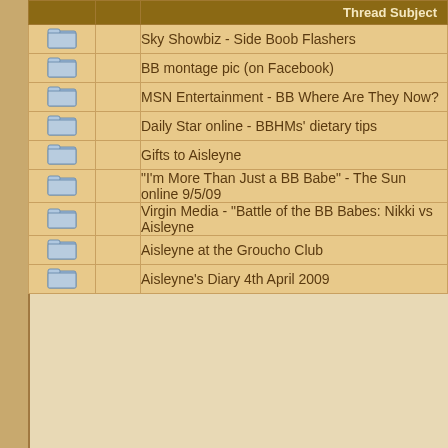|  |  | Thread Subject |
| --- | --- | --- |
| [folder] |  | Sky Showbiz - Side Boob Flashers |
| [folder] |  | BB montage pic (on Facebook) |
| [folder] |  | MSN Entertainment - BB Where Are They Now? |
| [folder] |  | Daily Star online - BBHMs' dietary tips |
| [folder] |  | Gifts to Aisleyne |
| [folder] |  | "I'm More Than Just a BB Babe" - The Sun online 9/5/09 |
| [folder] |  | Virgin Media - "Battle of the BB Babes: Nikki vs Aisleyne |
| [folder] |  | Aisleyne at the Groucho Club |
| [folder] |  | Aisleyne's Diary 4th April 2009 |